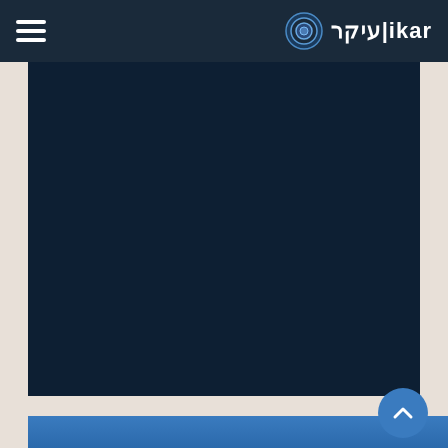ikar|עיקר navigation header with hamburger menu and logo
[Figure (screenshot): Dark navy blue main content area of a website, mostly blank dark background]
[Figure (screenshot): Bottom blue footer bar of the ikar website with back-to-top arrow button]